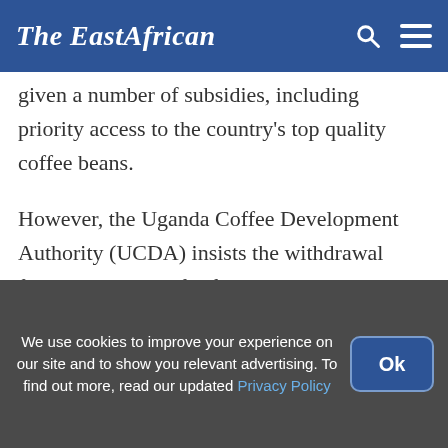The EastAfrican
given a number of subsidies, including priority access to the country's top quality coffee beans.
However, the Uganda Coffee Development Authority (UCDA) insists the withdrawal from ICO is good for farmers and exporters, and that the country is willing to rejoin organisation if its grievances are addressed.
Uganda said it withdrew because of unreasonable
We use cookies to improve your experience on our site and to show you relevant advertising. To find out more, read our updated Privacy Policy